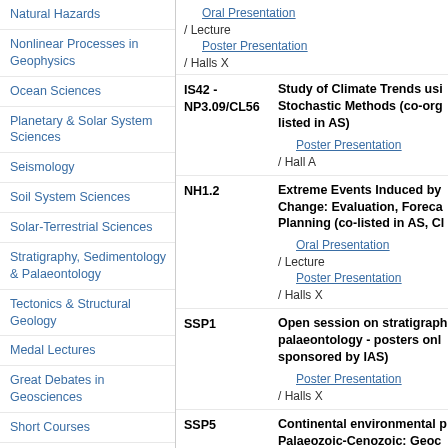Natural Hazards
Nonlinear Processes in Geophysics
Ocean Sciences
Planetary & Solar System Sciences
Seismology
Soil System Sciences
Solar-Terrestrial Sciences
Stratigraphy, Sedimentology & Palaeontology
Tectonics & Structural Geology
Medal Lectures
Great Debates in Geosciences
Short Courses
Keynote Lectures
Townhall Meetings
Division Business Meetings
Editorial Board Meetings
Union Meetings
Oral Presentation / Lecture ...
Poster Presentation / Halls X...
IS42 - NP3.09/CL56 | Study of Climate Trends using Stochastic Methods (co-org... listed in AS)
Poster Presentation / Hall A...
NH1.2 | Extreme Events Induced by Change: Evaluation, Foreca... Planning (co-listed in AS, CL...
Oral Presentation / Lecture ...
Poster Presentation / Halls X...
SSP1 | Open session on stratigraph... palaeontology - posters only... sponsored by IAS)
Poster Presentation / Halls X...
SSP5 | Continental environmental p... Palaeozoic-Cenozoic: Geoc... proxies (co-listed in CL)
Oral Presentation / Lecture ...
Poster Presentation / Hall...